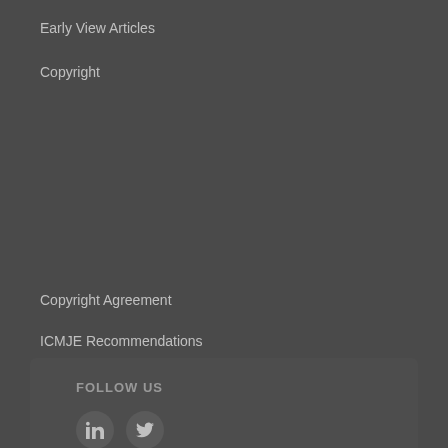Early View Articles
Copyright
Copyright Agreement
ICMJE Recommendations
Contact
Permissions
FOLLOW US
[Figure (other): LinkedIn and Twitter social media icons in circular dark grey buttons]